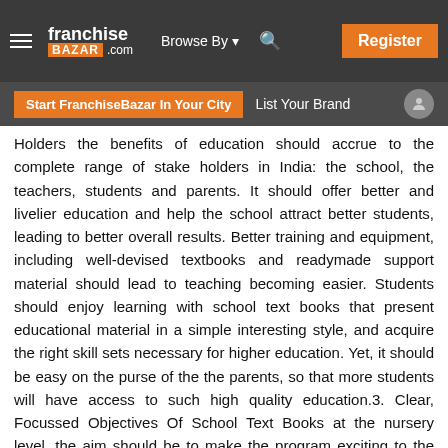franchise BAZAR .com  Browse By  Register  Start FranchiseBazar In Your City  List Your Brand
Holders the benefits of education should accrue to the complete range of stake holders in India: the school, the teachers, students and parents. It should offer better and livelier education and help the school attract better students, leading to better overall results. Better training and equipment, including well-devised textbooks and readymade support material should lead to teaching becoming easier. Students should enjoy learning with school text books that present educational material in a simple interesting style, and acquire the right skill sets necessary for higher education. Yet, it should be easy on the purse of the the parents, so that more students will have access to such high quality education.3. Clear, Focussed Objectives Of School Text Books at the nursery level, the aim should be to make the program exciting to the kids, not only facilitate easy learning, but also capturing the imagination of parents, even in the remotest areas across India. In this age of computers, delivering education in IT-enabled form would make this possible, based on the three-dimensional presentation capability of the computer. This should be followed through at the higher classes, and